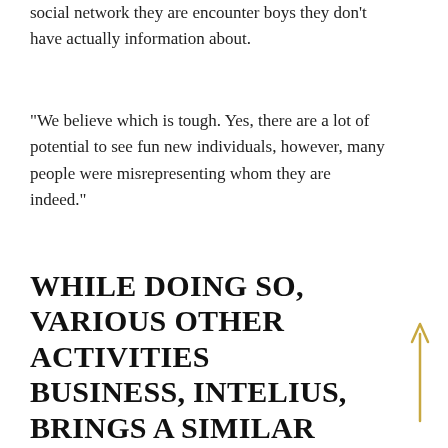social network they are encounter boys they don't have actually information about.
“We believe which is tough. Yes, there are a lot of potential to see fun new individuals, however, many people were misrepresenting whom they are indeed.”
WHILE DOING SO, VARIOUS OTHER ACTIVITIES BUSINESS, INTELIUS, BRINGS A SIMILAR